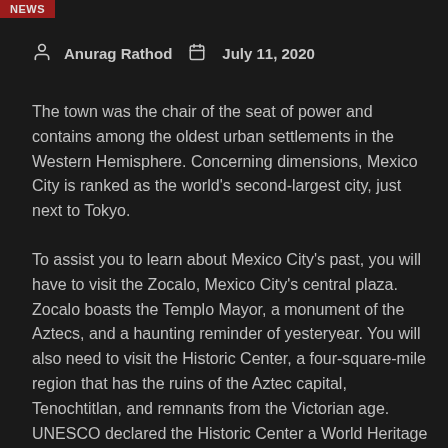NEWS
Anurag Rathod   July 11, 2020
The town was the chair of the seat of power and contains among the oldest urban settlements in the Western Hemisphere. Concerning dimensions, Mexico City is ranked as the world's second-largest city, just next to Tokyo.
To assist you to learn about Mexico City's past, you will have to visit the Zocalo, Mexico City's central plaza. Zocalo boasts the Templo Mayor, a monument of the Aztecs, and a haunting reminder of yesteryear. You will also need to visit the Historic Center, a four-square-mile region that has the ruins of the Aztec capital, Tenochtitlan, and remnants from the Victorian age. UNESCO declared the Historic Center a World Heritage Site